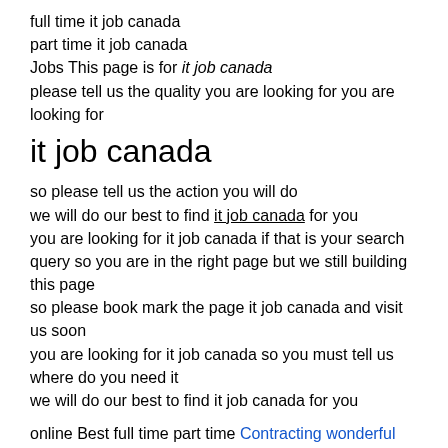full time it job canada
part time it job canada
Jobs This page is for it job canada
please tell us the quality you are looking for you are looking for
it job canada
so please tell us the action you will do
we will do our best to find it job canada for you
you are looking for it job canada if that is your search query so you are in the right page but we still building this page
so please book mark the page it job canada and visit us soon
you are looking for it job canada so you must tell us where do you need it
we will do our best to find it job canada for you
online Best full time part time Contracting wonderful tour